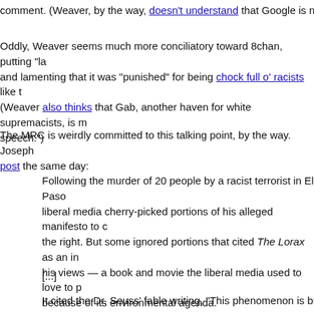comment. (Weaver, by the way, doesn't understand that Google is not a m
Oddly, Weaver seems much more conciliatory toward 8chan, putting "la and lamenting that it was "punished" for being chock full o' racists like t (Weaver also thinks that Gab, another haven for white supremacists, is m speech.")
The MRC is weirdly committed to this talking point, by the way. Joseph post the same day:
Following the murder of 20 people by a racist terrorist in El Paso liberal media cherry-picked portions of his alleged manifesto to c the right. But some ignored portions that cited The Lorax as an in his views — a book and movie the liberal media used to love to p because of its environmental agenda.
[...]
It cited the Dr. Seuss’ fable writing, “This phenomenon is brillian in the decades-old classic ‘The Lorax.’ Watersheds around the co especially in agricultural areas, are being depleted. Fresh water is polluted from farming and oil-drilling operations.” He attacked “ culture” for plastic and e-waste, complained about urban sprawl, paper towels and the unwillingness of people to change their lifes
Many of those environmental attitudes are promoted by the liber